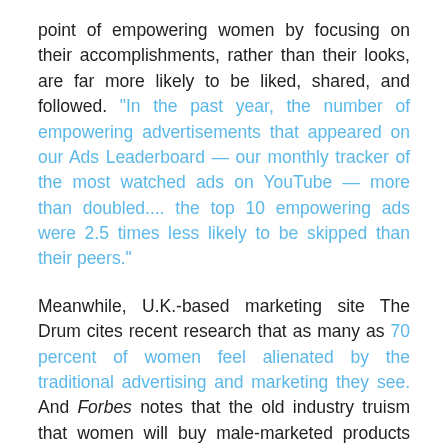point of empowering women by focusing on their accomplishments, rather than their looks, are far more likely to be liked, shared, and followed. “In the past year, the number of empowering advertisements that appeared on our Ads Leaderboard — our monthly tracker of the most watched ads on YouTube — more than doubled.... the top 10 empowering ads were 2.5 times less likely to be skipped than their peers.”
Meanwhile, U.K.-based marketing site The Drum cites recent research that as many as 70 percent of women feel alienated by the traditional advertising and marketing they see. And Forbes notes that the old industry truism that women will buy male-marketed products but men won’t buy female-marketed products is visibly crumbling: